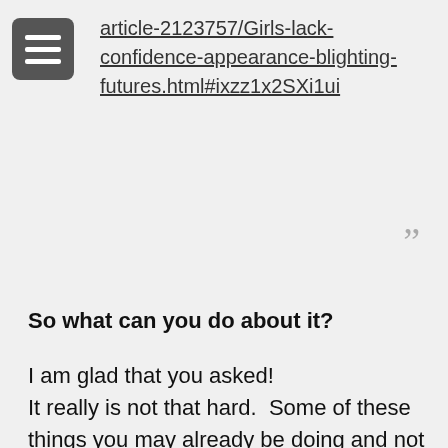article-2123757/Girls-lack-confidence-appearance-blighting-futures.html#ixzz1x2SXi1ui
”
So what can you do about it?
I am glad that you asked!
It really is not that hard.  Some of these things you may already be doing and not realizing the positive effect it is having on your confidence levels.
Most of these tips will increase your self-confidence without any real extra effort at all.

Just make them a habit.  Keep the list near you.  Put it in a place where you can read it